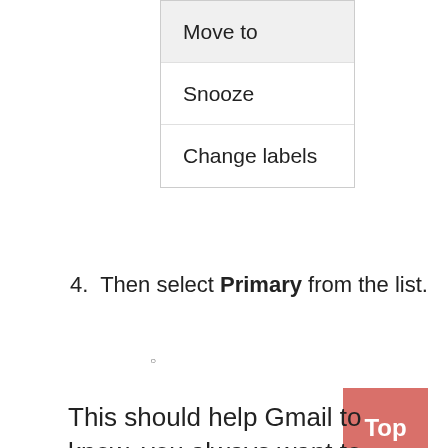[Figure (screenshot): Dropdown menu showing three items: Move to (highlighted in gray), Snooze, Change labels]
4. Then select Primary from the list.
This should help Gmail to know, you always want to see Richard Bosse in
[Figure (other): Top button - pink/salmon colored button with text 'Top']